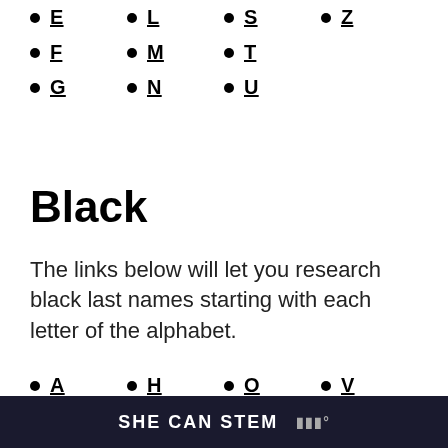E
L
S
Z
F
M
T
G
N
U
Black
The links below will let you research black last names starting with each letter of the alphabet.
A
H
O
V
B
I
P
W
SHE CAN STEM